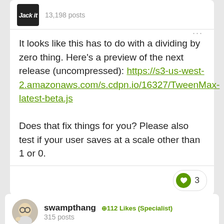[Figure (other): Jack avatar icon - dark background with italic text]
13,198 posts
It looks like this has to do with a dividing by zero thing. Here's a preview of the next release (uncompressed): https://s3-us-west-2.amazonaws.com/s.cdpn.io/16327/TweenMax-latest-beta.js
Does that fix things for you? Please also test if your user saves at a scale other than 1 or 0.
3
[Figure (illustration): swampthang user avatar - cartoon illustration of a bald man with glasses]
swampthang +112 Likes (Specialist)
315 posts